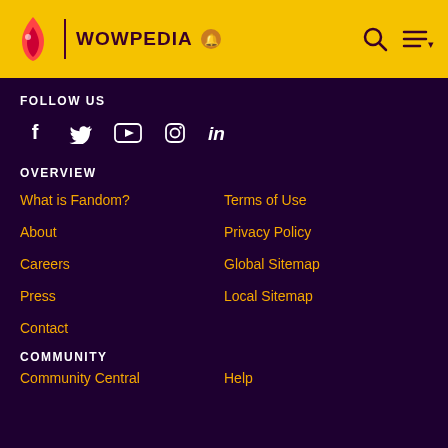WOWPEDIA
FOLLOW US
[Figure (illustration): Social media icons: Facebook, Twitter, YouTube, Instagram, LinkedIn]
OVERVIEW
What is Fandom?
Terms of Use
About
Privacy Policy
Careers
Global Sitemap
Press
Local Sitemap
Contact
COMMUNITY
Community Central
Help